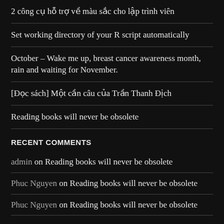2 công cụ hỗ trợ về màu sắc cho lập trình viên
Set working directory of your R script automatically
October – Wake me up, breast cancer awareness month, rain and waiting for November.
[Đọc sách] Một cần câu của Trần Thanh Địch
Reading books will never be obsolete
RECENT COMMENTS
admin on Reading books will never be obsolete
Phuc Nguyen on Reading books will never be obsolete
Phuc Nguyen on Reading books will never be obsolete